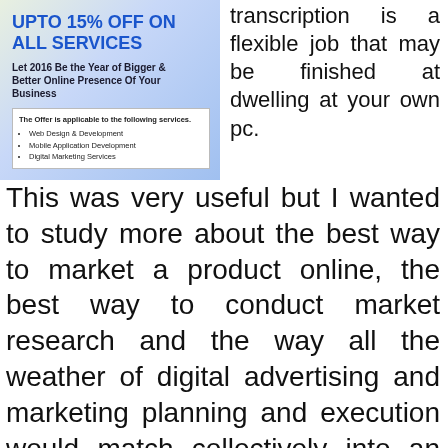[Figure (infographic): Advertisement box with blue gradient background. Title: UPTO 15% OFF ON ALL SERVICES. Subtitle: Let 2016 Be the Year of Bigger & Better Online Presence Of Your Business. Inner white box listing services: The Offer is applicable to the following services. Web Design & Development, Mobile Application Development, Digital Marketing Services.]
transcription is a flexible job that may be finished at dwelling at your own pc.
This was very useful but I wanted to study more about the best way to market a product online, the best way to conduct market research and the way all the weather of digital advertising and marketing planning and execution would match collectively into an even b image to deliver a company ahead.
[Figure (logo): Google reCAPTCHA badge with spinning arrows icon and Privacy - Terms text]